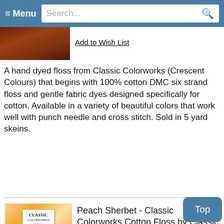≡ Menu  Search...
[Figure (photo): Partial photo of brown/dark cotton floss skein at top of page]
Add to Wish List
A hand dyed floss from Classic Colorworks (Crescent Colours) that begins with 100% cotton DMC six strand floss and gentle fabric dyes designed specifically for cotton. Available in a variety of beautiful colors that work well with punch needle and cross stitch. Sold in 5 yard skeins.
[Figure (photo): Photo of Peach Sherbet Classic Colorworks cotton floss skein with Classic Colorworks label tag, yellow/peach/orange colored threads]
Peach Sherbet - Classic Colorworks Cotton Floss by Classic Colorworks
$2.49
Add to Cart
Add to Wish List
A hand dyed floss from Classic Colorworks (Crescent Colours) that begins with 100% cotton DMC six strand floss and gentle fabric dyes designed specifically for cotton...